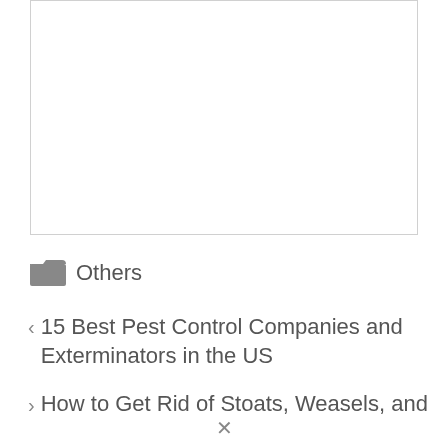[Figure (other): White rectangular image placeholder with light gray border]
Others
< 15 Best Pest Control Companies and Exterminators in the US
> How to Get Rid of Stoats, Weasels, and